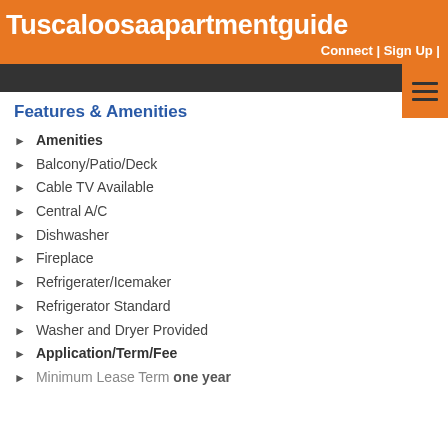Tuscaloosaapartmentguide
Connect | Sign Up |
Features & Amenities
Amenities
Balcony/Patio/Deck
Cable TV Available
Central A/C
Dishwasher
Fireplace
Refrigerater/Icemaker
Refrigerator Standard
Washer and Dryer Provided
Application/Term/Fee
Minimum Lease Term one year